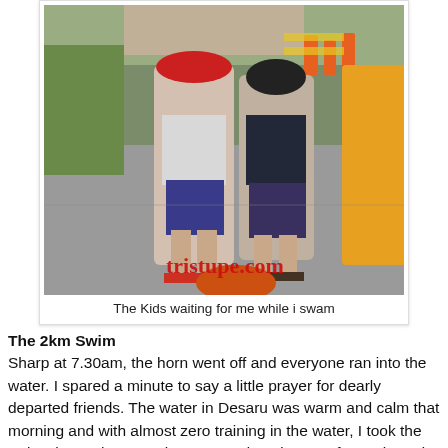[Figure (photo): Two children standing on a street or pavement at what appears to be a sports event. A girl in a red hat and a boy in a dark shirt. Orange cones and a person in yellow visible in the background. Watermark 'tristupe.com' in red at the bottom of the photo.]
The Kids waiting for me while i swam
The 2km Swim
Sharp at 7.30am, the horn went off and everyone ran into the water. I spared a minute to say a little prayer for dearly departed friends. The water in Desaru was warm and calm that morning and with almost zero training in the water, I took the swim slower than usual. I managed to alternate freestyle and breaststroke and placed myself well within the middle pack. Using the Garmin 910XT in water is tricky. I did not get any heart rate and the GPS works only when my hands are